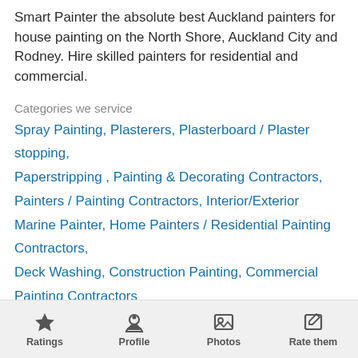Smart Painter the absolute best Auckland painters for house painting on the North Shore, Auckland City and Rodney. Hire skilled painters for residential and commercial.
Categories we service
Spray Painting, Plasterers, Plasterboard / Plaster stopping, Paperstripping , Painting & Decorating Contractors, Painters / Painting Contractors, Interior/Exterior Marine Painter, Home Painters / Residential Painting Contractors, Deck Washing, Construction Painting, Commercial Painting Contractors
Areas we service
Westmare, West Harbour, Wairau Valley (North Shore),
Ratings  Profile  Photos  Rate them